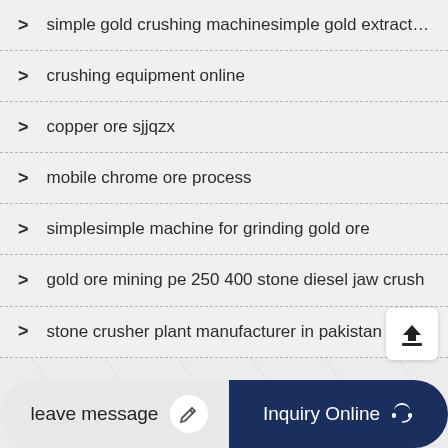simple gold crushing machinesimple gold extraction
crushing equipment online
copper ore sjjqzx
mobile chrome ore process
simplesimple machine for grinding gold ore
gold ore mining pe 250 400 stone diesel jaw crush
stone crusher plant manufacturer in pakistan nagpur
leave message
Inquiry Online